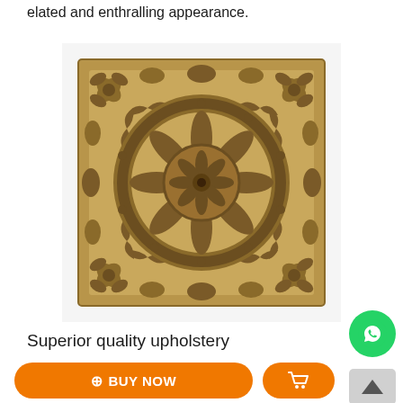elated and enthralling appearance.
[Figure (photo): Ornate square wooden carved wall panel with intricate floral and mandala pattern, warm brown antique finish, filigree lattice design.]
Superior quality upholstery
BUY NOW
[Figure (logo): WhatsApp green circle button icon]
[Figure (other): Scroll to top button with upward arrow]